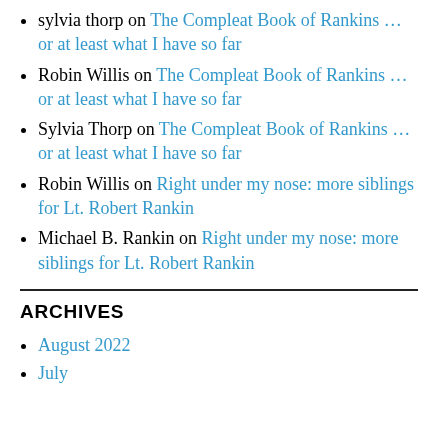sylvia thorp on The Compleat Book of Rankins … or at least what I have so far
Robin Willis on The Compleat Book of Rankins … or at least what I have so far
Sylvia Thorp on The Compleat Book of Rankins … or at least what I have so far
Robin Willis on Right under my nose: more siblings for Lt. Robert Rankin
Michael B. Rankin on Right under my nose: more siblings for Lt. Robert Rankin
ARCHIVES
August 2022
July …